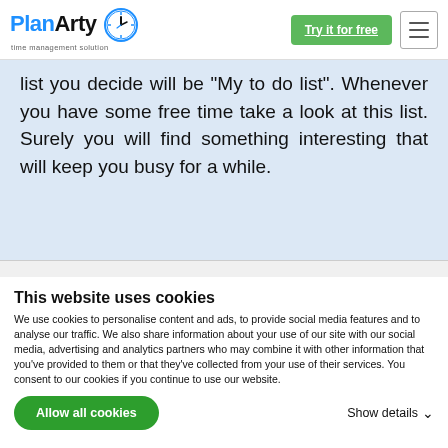PlanArty - time management solution | Try it for free
list you decide will be "My to do list". Whenever you have some free time take a look at this list. Surely you will find something interesting that will keep you busy for a while.
This website uses cookies
We use cookies to personalise content and ads, to provide social media features and to analyse our traffic. We also share information about your use of our site with our social media, advertising and analytics partners who may combine it with other information that you've provided to them or that they've collected from your use of their services. You consent to our cookies if you continue to use our website.
Allow all cookies
Show details